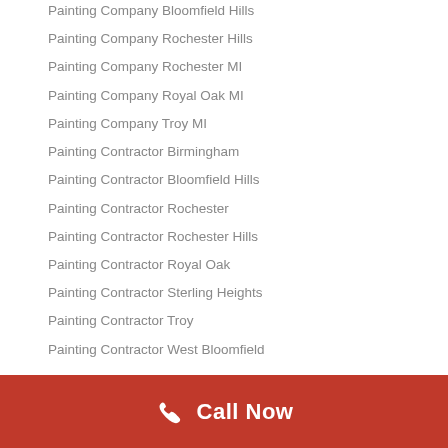Painting Company Bloomfield Hills
Painting Company Rochester Hills
Painting Company Rochester MI
Painting Company Royal Oak MI
Painting Company Troy MI
Painting Contractor Birmingham
Painting Contractor Bloomfield Hills
Painting Contractor Rochester
Painting Contractor Rochester Hills
Painting Contractor Royal Oak
Painting Contractor Sterling Heights
Painting Contractor Troy
Painting Contractor West Bloomfield
Call Now